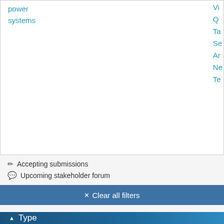power systems
V
Q
Ta
Se
Ar
Ne
Te
✏ Accepting submissions
💬 Upcoming stakeholder forum
✕ Clear all filters
▲ Type
| Type | Count | Selected |
| --- | --- | --- |
| Review | 22 |  |
| Guideline | 16 | ✓ |
| Model | 9 |  |
| Pricing proposal | 7 |  |
| Service provider | 3 |  |